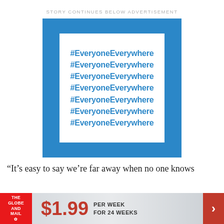STORY CONTINUES BELOW ADVERTISEMENT
[Figure (infographic): Blue-bordered advertisement box with white inner panel showing '#EveryoneEverywhere' repeated seven times in bold blue text]
“It’s easy to say we’re far away when no one knows
[Figure (infographic): The Globe and Mail subscription banner: logo on red background, $1.99 per week for 24 weeks, red arrow chevron]